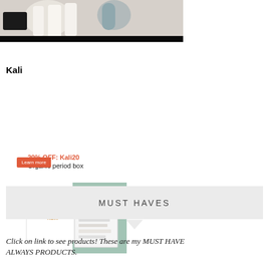[Figure (photo): Top banner showing candles and lifestyle products with a black 'Join Now' bar overlay]
Kali
[Figure (illustration): Kali organic period box advertisement with discount code 20% OFF: Kali20, product image of Kali box, and a Learn more button]
[Figure (infographic): Gray banner with text MUST HAVES and a downward pointing triangle arrow below it]
Click on link to see products! These are my MUST HAVE ALWAYS PRODUCTS.